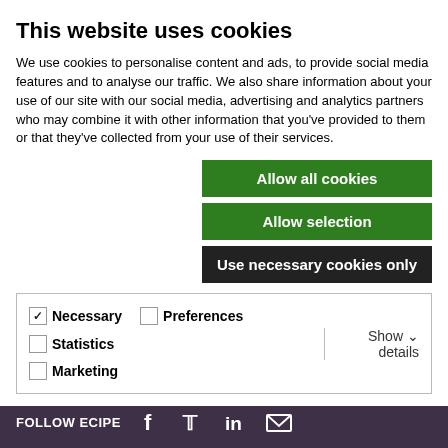This website uses cookies
We use cookies to personalise content and ads, to provide social media features and to analyse our traffic. We also share information about your use of our site with our social media, advertising and analytics partners who may combine it with other information that you've provided to them or that they've collected from your use of their services.
Allow all cookies
Allow selection
Use necessary cookies only
| Necessary (checked) | Preferences | Statistics | Show details |
| Marketing |  |  |  |
As they become critical components, embedded electronics can become the “Achilles’ wheel” for the car industry in the future. And this is not just a problem for the automotive sector. Despite continuous efforts and progress, industry experts
FOLLOW ECIPE